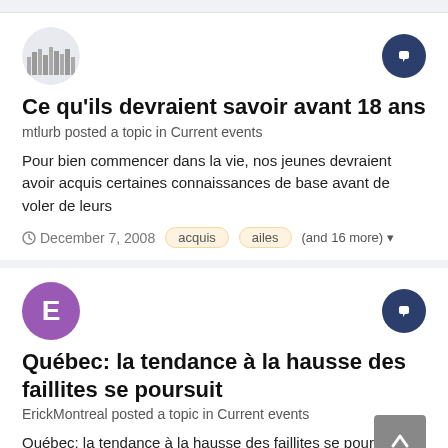[Figure (logo): mtlurb forum logo / cityscape avatar]
Ce qu'ils devraient savoir avant 18 ans
mtlurb posted a topic in Current events
Pour bien commencer dans la vie, nos jeunes devraient avoir acquis certaines connaissances de base avant de voler de leurs
December 7, 2008   acquis   ailes   (and 16 more)
[Figure (logo): Purple circle avatar with letter E for ErickMontreal]
Québec: la tendance à la hausse des faillites se poursuit
ErickMontreal posted a topic in Current events
Québec: la tendance à la hausse des faillites se poursuit Z